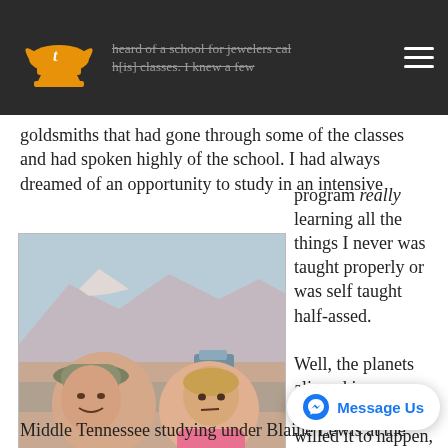heard of a school for jewelers called [strikethrough text] knew a few
goldsmiths that had gone through some of the classes and had spoken highly of the school. I had always dreamed of an opportunity to study in an intensive program really learning all the things I never was taught properly or was self taught half-assed.

Well, the planets aligned in my favor or maybe I willed it to happen, either wa[y]
[Figure (photo): Two children sitting outdoors with a mountain range and blue sky in the background. The child on the left wears a camouflage hat and the child on the right wears a pink shirt.]
Road Trip pit stop!
Middle Tennessee studying under Blaine Lewis at the